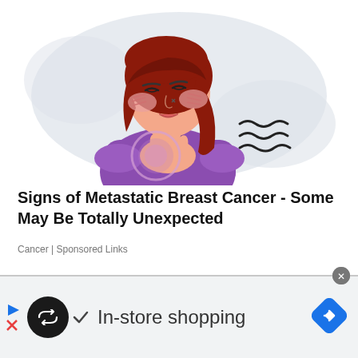[Figure (illustration): Cartoon illustration of a woman with red/brown hair, eyes closed in discomfort, pressing her hand to her chest. Pink blush marks on cheeks. She wears a purple shirt. A glowing/highlighted circle on her chest area, and wavy lines to the right suggesting pain or sensation. Background has a light grey blob shape.]
Signs of Metastatic Breast Cancer - Some May Be Totally Unexpected
Cancer | Sponsored Links
[Figure (infographic): Bottom advertisement bar with a dark circular icon containing infinity/loop symbol, a blue play arrow and X below it on the left, a checkmark followed by 'In-store shopping' text in the center, and a blue diamond-shaped arrow icon on the right. A small grey circle with X close button at top right of bar.]